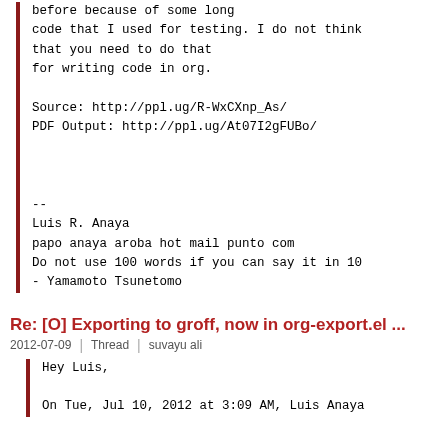before because of some long
code that I used for testing. I do not think
that you need to do that
for writing code in org.

Source: http://ppl.ug/R-WxCXnp_As/
PDF Output: http://ppl.ug/At07I2gFUBo/



--
Luis R. Anaya
papo anaya aroba hot mail punto com
Do not use 100 words if you can say it in 10
- Yamamoto Tsunetomo
Re: [O] Exporting to groff, now in org-export.el ...
2012-07-09 | Thread | suvayu ali
Hey Luis,

On Tue, Jul 10, 2012 at 3:09 AM, Luis Anaya